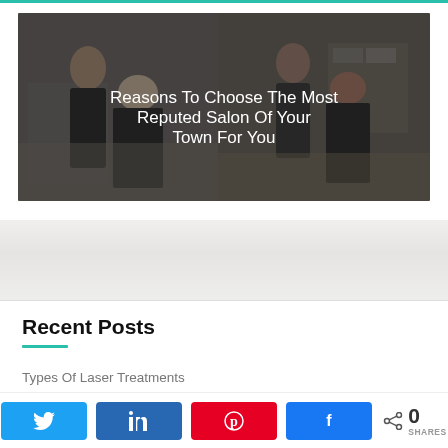[Figure (photo): Salon scene with hairstylists working on clients, dark overlay with title text 'Reasons To Choose The Most Reputed Salon Of Your Town For You']
Recent Posts
Types Of Laser Treatments
Beauty Standards In The 21st Century
0 SHARES — social share buttons (Twitter, LinkedIn, Pinterest, Facebook)